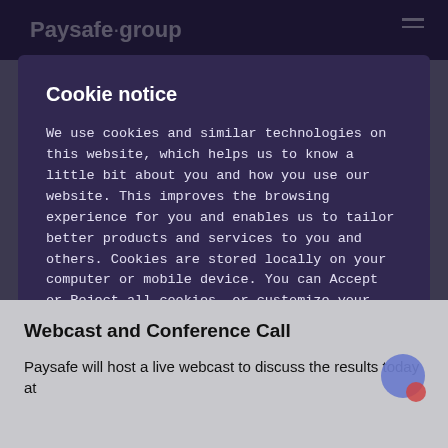Paysafe Group
Cookie notice
We use cookies and similar technologies on this website, which helps us to know a little bit about you and how you use our website. This improves the browsing experience for you and enables us to tailor better products and services to you and others. Cookies are stored locally on your computer or mobile device. You can Accept or Reject all cookies, or customize your choices using "Cookie settings".
Reject All
Accept All Cookies
Cookies Settings
Webcast and Conference Call
Paysafe will host a live webcast to discuss the results today at